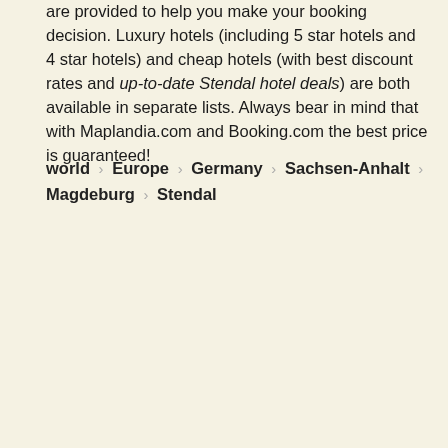are provided to help you make your booking decision. Luxury hotels (including 5 star hotels and 4 star hotels) and cheap hotels (with best discount rates and up-to-date Stendal hotel deals) are both available in separate lists. Always bear in mind that with Maplandia.com and Booking.com the best price is guaranteed!
world > Europe > Germany > Sachsen-Anhalt > Magdeburg > Stendal